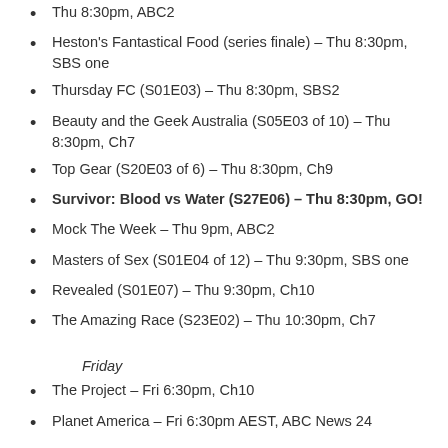Thu 8:30pm, ABC2
Heston's Fantastical Food (series finale) – Thu 8:30pm, SBS one
Thursday FC (S01E03) – Thu 8:30pm, SBS2
Beauty and the Geek Australia (S05E03 of 10) – Thu 8:30pm, Ch7
Top Gear (S20E03 of 6) – Thu 8:30pm, Ch9
Survivor: Blood vs Water (S27E06) – Thu 8:30pm, GO!
Mock The Week – Thu 9pm, ABC2
Masters of Sex (S01E04 of 12) – Thu 9:30pm, SBS one
Revealed (S01E07) – Thu 9:30pm, Ch10
The Amazing Race (S23E02) – Thu 10:30pm, Ch7
Friday
The Project – Fri 6:30pm, Ch10
Planet America – Fri 6:30pm AEST, ABC News 24